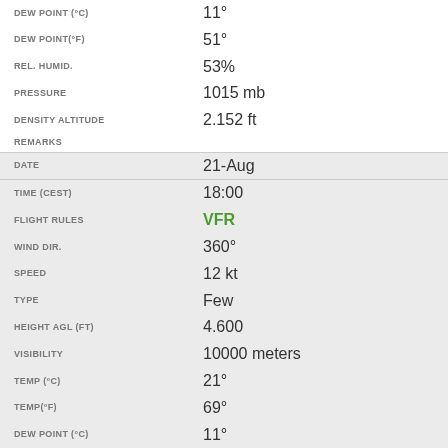| Field | Value |
| --- | --- |
| DEW POINT (°C) | 11° |
| DEW POINT(°F) | 51° |
| REL. HUMID. | 53% |
| PRESSURE | 1015 mb |
| DENSITY ALTITUDE | 2.152 ft |
| REMARKS |  |
| DATE | 21-Aug |
| TIME (CEST) | 18:00 |
| FLIGHT RULES | VFR |
| WIND DIR. | 360° |
| SPEED | 12 kt |
| TYPE | Few |
| HEIGHT AGL (FT) | 4.600 |
| VISIBILITY | 10000 meters |
| TEMP (°C) | 21° |
| TEMP(°F) | 69° |
| DEW POINT (°C) | 11° |
| DEW POINT(°F) | 51° |
| REL. HUMID. | 53% |
| PRESSURE | 1015 mb |